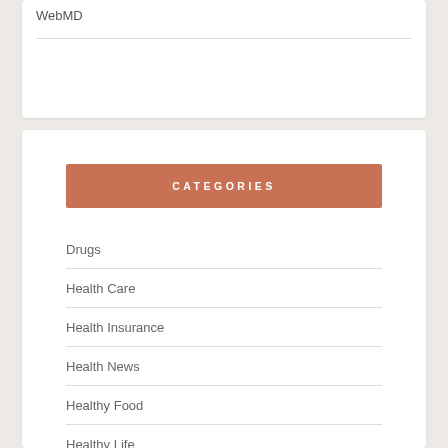WebMD
CATEGORIES
Drugs
Health Care
Health Insurance
Health News
Healthy Food
Healthy Life
Medicine